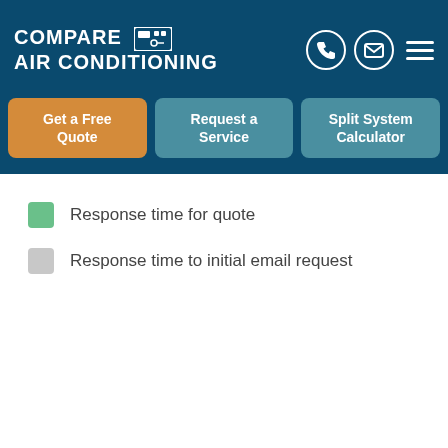COMPARE AIR CONDITIONING
Get a Free Quote
Request a Service
Split System Calculator
Response time for quote
Response time to initial email request